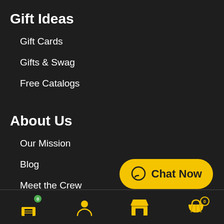Gift Ideas
Gift Cards
Gifts & Swag
Free Catalogs
About Us
Our Mission
Blog
Meet the Crew
Employment
[Figure (other): Yellow chat now button with speech bubble icon]
Bottom navigation bar with home (badge 0), profile, store, and cart (badge 0) icons